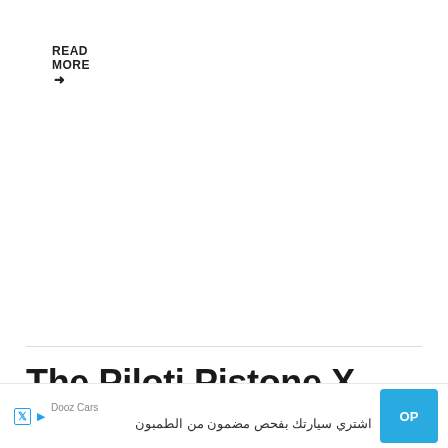READ MORE →
The Piloti Pistone X Driving Shoe: Testing T...
[Figure (other): Advertisement banner: Dooz Cars - Arabic text with blue button labeled OP, social media icons (X, play button)]